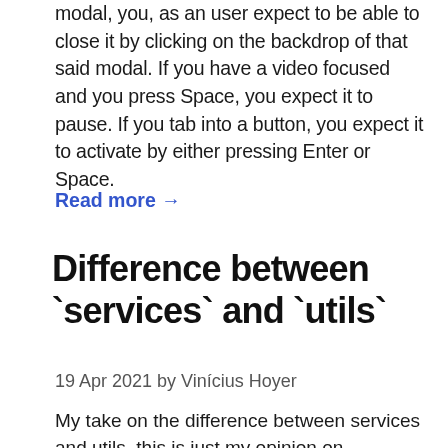modal, you, as an user expect to be able to close it by clicking on the backdrop of that said modal. If you have a video focused and you press Space, you expect it to pause. If you tab into a button, you expect it to activate by either pressing Enter or Space.
Read more →
Difference between `services` and `utils`
19 Apr 2021 by Vinícius Hoyer
My take on the difference between services and utils, this is just my opinion on understanding the topic, and also a place